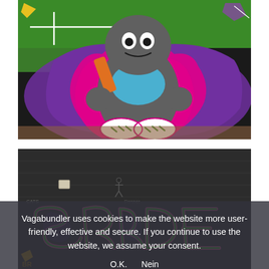[Figure (photo): Street graffiti mural on a brick wall showing a cartoon character — a large grey robot/monster with a blue torso, holding something orange, wearing white sneakers with green stripes. The background has bright green, purple, and pink freeform graffiti lettering.]
[Figure (photo): Street graffiti on a dark grey/black brick wall. The upper portion shows plain dark wall with a small white box and a small figure visible. The lower portion features large graffiti wildstyle lettering in green with purple/pink outline and yellow at bottom left.]
Vagabundler uses cookies to make the website more user-friendly, effective and secure. If you continue to use the website, we assume your consent.
O.K.   Nein